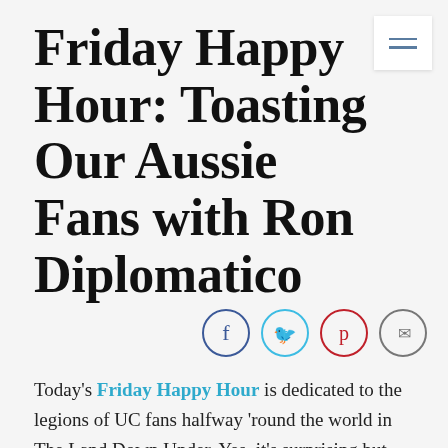Friday Happy Hour: Toasting Our Aussie Fans with Ron Diplomatico
[Figure (infographic): Social sharing icons: Facebook (blue circle), Twitter (light blue circle), Pinterest (red circle), Email (grey circle)]
Today's Friday Happy Hour is dedicated to the legions of UC fans halfway 'round the world in The Land Down Under. Yes, it's surprising but true: we have readers in Australia!